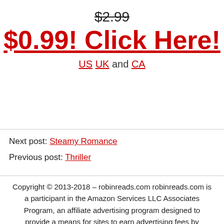$2.99
$0.99! Click Here!
US UK and CA
Next post: Steamy Romance
Previous post: Thriller
Copyright © 2013-2018 – robinreads.com robinreads.com is a participant in the Amazon Services LLC Associates Program, an affiliate advertising program designed to provide a means for sites to earn advertising fees by advertising and linking to amazon.com. Our goal is to